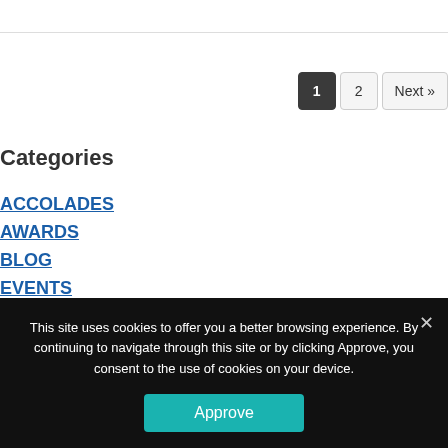1  2  Next »
Categories
ACCOLADES
AWARDS
BLOG
EVENTS
NEWS
PRESS RELEASES
This site uses cookies to offer you a better browsing experience. By continuing to navigate through this site or by clicking Approve, you consent to the use of cookies on your device.